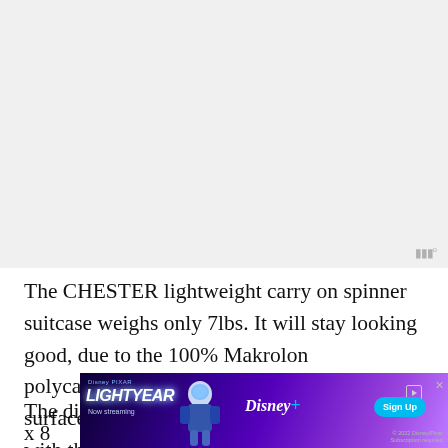[Figure (photo): Light gray blank/placeholder image area at top of page]
The CHESTER lightweight carry on spinner suitcase weighs only 7lbs. It will stay looking good, due to the 100% Makrolon polycarbonate hard shell with scratch-resistant surface. So you get the best of both worlds with this suitcase.
The dimensions of this suitcase are 21.5" x 13.5"
[Figure (screenshot): Disney Pixar Lightyear advertisement banner. Shows Disney Pixar Lightyear logo, Now streaming, animated character, Disney+ logo, Sign Up button, close button, and copyright text.]